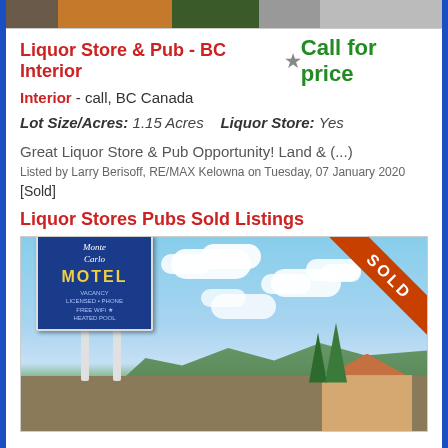[Figure (photo): Thumbnail strip of property images at top of page]
Liquor Store & Pub - BC Interior - call, BC Canada
Call for price
Lot Size/Acres: 1.15 Acres   Liquor Store: Yes
Great Liquor Store & Pub Opportunity! Land & (...)
Listed by Larry Berisoff, RE/MAX Kelowna on Tuesday, 07 January 2020
[Sold]
Liquor Stores Pubs Sold Listings
[Figure (photo): Photo of Monte Carlo Motel sign with SOLD ribbon overlay, blue sky with clouds, mountains in background]